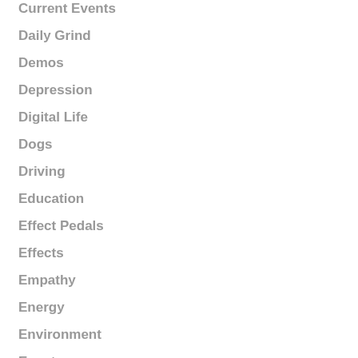Current Events
Daily Grind
Demos
Depression
Digital Life
Dogs
Driving
Education
Effect Pedals
Effects
Empathy
Energy
Environment
Events
Exploring
Family
Feminism
Film Photography
Fitness